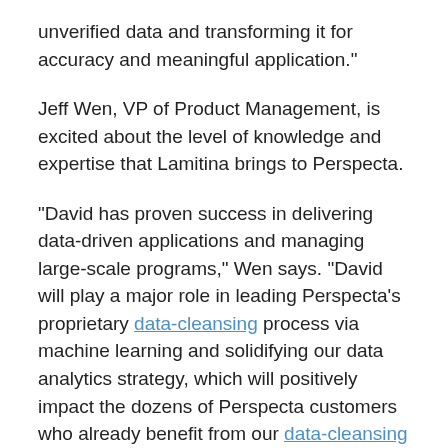unverified data and transforming it for accuracy and meaningful application."
Jeff Wen, VP of Product Management, is excited about the level of knowledge and expertise that Lamitina brings to Perspecta.
"David has proven success in delivering data-driven applications and managing large-scale programs," Wen says. "David will play a major role in leading Perspecta's proprietary data-cleansing process via machine learning and solidifying our data analytics strategy, which will positively impact the dozens of Perspecta customers who already benefit from our data-cleansing solutions".